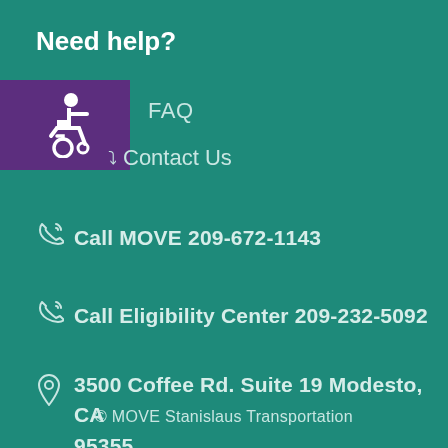Need help?
[Figure (illustration): Purple square with wheelchair accessibility icon (person in wheelchair silhouette) in white]
FAQ
Contact Us
Call MOVE 209-672-1143
Call Eligibility Center 209-232-5092
3500 Coffee Rd. Suite 19 Modesto, CA 95355
© MOVE Stanislaus Transportation